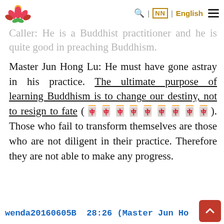fate. [logo] | NN | English [menu]
Caller: He is a Buddhist practitioner and he is quite good in preaching Buddhism.
Master Jun Hong Lu: He must have gone astray in his practice. The ultimate purpose of learning Buddhism is to change our destiny, not to resign to fate (愿愿愿愿愿愿愿愿愿). Those who fail to transform themselves are those who are not diligent in their practice. Therefore they are not able to make any progress.
wenda20160605B  28:26 (Master Jun Ho